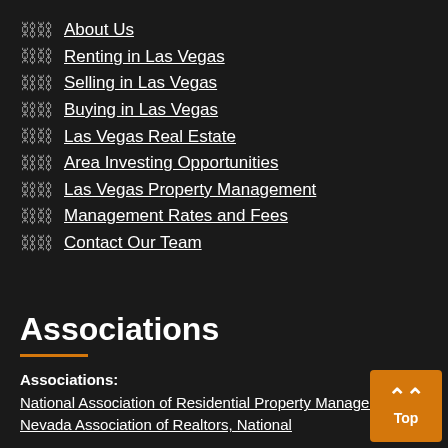About Us
Renting in Las Vegas
Selling in Las Vegas
Buying in Las Vegas
Las Vegas Real Estate
Area Investing Opportunities
Las Vegas Property Management
Management Rates and Fees
Contact Our Team
Associations
Associations: National Association of Residential Property Managers, Nevada Association of Realtors, National